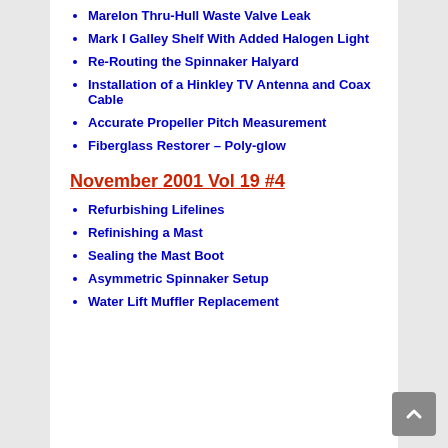Marelon Thru-Hull Waste Valve Leak
Mark I Galley Shelf With Added Halogen Light
Re-Routing the Spinnaker Halyard
Installation of a Hinkley TV Antenna and Coax Cable
Accurate Propeller Pitch Measurement
Fiberglass Restorer – Poly-glow
November 2001 Vol 19 #4
Refurbishing Lifelines
Refinishing a Mast
Sealing the Mast Boot
Asymmetric Spinnaker Setup
Water Lift Muffler Replacement